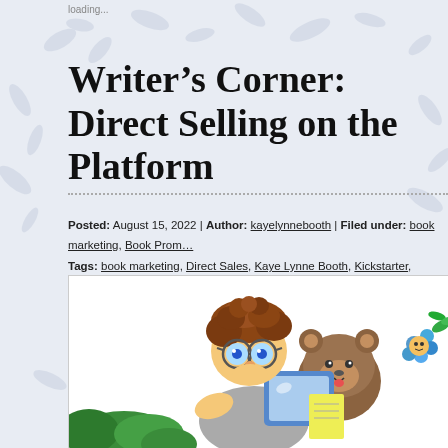loading...
Writer’s Corner: Direct Selling on the Platform
Posted: August 15, 2022 | Author: kayelynnebooth | Filed under: book marketing, Book Prom…
Tags: book marketing, Direct Sales, Kaye Lynne Booth, Kickstarter, Writer’s Corner, Writing to…
[Figure (illustration): Cartoon illustration of a frazzled-looking writer character with big glasses and messy brown hair sitting at a computer, with a small bear and a flower-holding character visible in the background.]